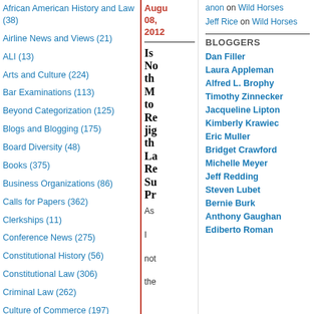African American History and Law (38)
Airline News and Views (21)
ALI (13)
Arts and Culture (224)
Bar Examinations (113)
Beyond Categorization (125)
Blogs and Blogging (175)
Board Diversity (48)
Books (375)
Business Organizations (86)
Calls for Papers (362)
Clerkships (11)
Conference News (275)
Constitutional History (56)
Constitutional Law (306)
Criminal Law (262)
Culture of Commerce (197)
Current Affairs (480)
August 08, 2012
Is No the Mo to Re jig the La Re Su Pr
As I note the
anon on Wild Horses
Jeff Rice on Wild Horses
BLOGGERS
Dan Filler
Laura Appleman
Alfred L. Brophy
Timothy Zinnecker
Jacqueline Lipton
Kimberly Krawiec
Eric Muller
Bridget Crawford
Michelle Meyer
Jeff Redding
Steven Lubet
Bernie Burk
Anthony Gaughan
Ediberto Roman